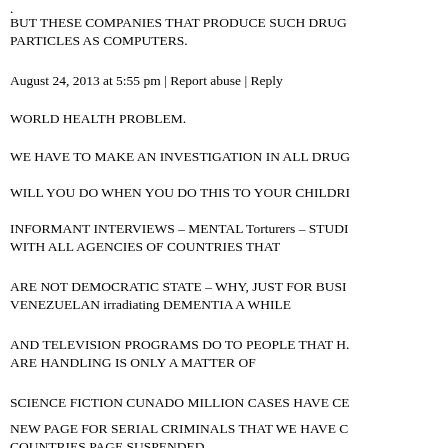.
BUT THESE COMPANIES THAT PRODUCE SUCH DRUG PARTICLES AS COMPUTERS.
August 24, 2013 at 5:55 pm | Report abuse | Reply
WORLD HEALTH PROBLEM.
WE HAVE TO MAKE AN INVESTIGATION IN ALL DRUG
WILL YOU DO WHEN YOU DO THIS TO YOUR CHILDRI
INFORMANT INTERVIEWS – MENTAL Torturers – STUDI WITH ALL AGENCIES OF COUNTRIES THAT
ARE NOT DEMOCRATIC STATE – WHY, JUST FOR BUSI VENEZUELAN irradiating DEMENTIA A WHILE
AND TELEVISION PROGRAMS DO TO PEOPLE THAT H. ARE HANDLING IS ONLY A MATTER OF
SCIENCE FICTION CUNADO MILLION CASES HAVE CE
NEW PAGE FOR SERIAL CRIMINALS THAT WE HAVE C COUNTRIES PAGE SUSPENDED.